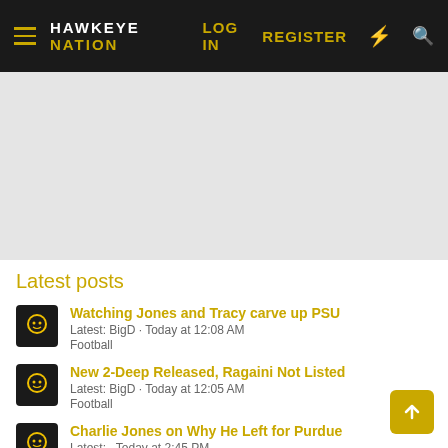HAWKEYE NATION — LOG IN  REGISTER
[Figure (other): Gray advertisement/banner placeholder area]
Latest posts
Watching Jones and Tracy carve up PSU — Latest: BigD · Today at 12:08 AM — Football
New 2-Deep Released, Ragaini Not Listed — Latest: BigD · Today at 12:05 AM — Football
Charlie Jones on Why He Left for Purdue — Latest: partially visible